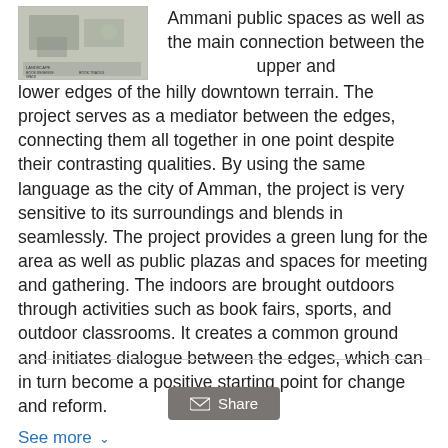[Figure (photo): Architectural project image showing a building plan or model with overlaid text elements]
Ammani public spaces as well as the main connection between the upper and lower edges of the hilly downtown terrain. The project serves as a mediator between the edges, connecting them all together in one point despite their contrasting qualities. By using the same language as the city of Amman, the project is very sensitive to its surroundings and blends in seamlessly. The project provides a green lung for the area as well as public plazas and spaces for meeting and gathering. The indoors are brought outdoors through activities such as book fairs, sports, and outdoor classrooms. It creates a common ground and initiates dialogue between the edges, which can in turn become a positive starting point for change and reform.
See more ˅